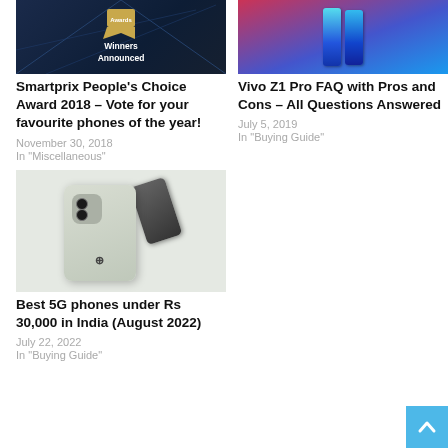[Figure (photo): Smartprix People's Choice Award 2018 banner - dark blue background with award badge, text 'Winners Announced']
Smartprix People's Choice Award 2018 – Vote for your favourite phones of the year!
November 30, 2018
In "Miscellaneous"
[Figure (photo): Vivo Z1 Pro smartphones in blue gradient color held outdoors]
Vivo Z1 Pro FAQ with Pros and Cons – All Questions Answered
July 5, 2019
In "Buying Guide"
[Figure (photo): OnePlus smartphone (light green/silver color) shown from the back with camera module, alongside a dark back view]
Best 5G phones under Rs 30,000 in India (August 2022)
July 22, 2022
In "Buying Guide"